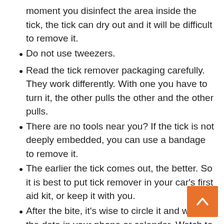moment you disinfect the area inside the tick, the tick can dry out and it will be difficult to remove it.
Do not use tweezers.
Read the tick remover packaging carefully. They work differently. With one you have to turn it, the other pulls the other and the other pulls.
There are no tools near you? If the tick is not deeply embedded, you can use a bandage to remove it.
The earlier the tick comes out, the better. So it is best to put tick remover in your car’s first aid kit, or keep it with you.
After the bite, it’s wise to circle it and write the date in your phone or calendar. Watch to see the red spot gets bigger. If this is the case, contact your doctor immediately.